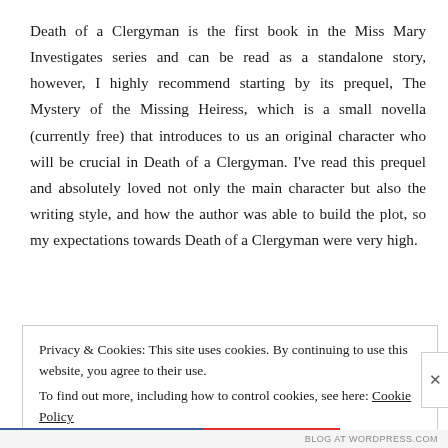Death of a Clergyman is the first book in the Miss Mary Investigates series and can be read as a standalone story, however, I highly recommend starting by its prequel, The Mystery of the Missing Heiress, which is a small novella (currently free) that introduces to us an original character who will be crucial in Death of a Clergyman. I've read this prequel and absolutely loved not only the main character but also the writing style, and how the author was able to build the plot, so my expectations towards Death of a Clergyman were very high.
Privacy & Cookies: This site uses cookies. By continuing to use this website, you agree to their use.
To find out more, including how to control cookies, see here: Cookie Policy
Close and accept